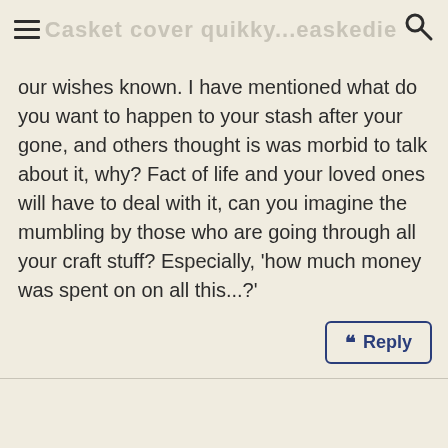Casket cover quikky...easkedie
our wishes known. I have mentioned what do you want to happen to your stash after your gone, and others thought is was morbid to talk about it, why? Fact of life and your loved ones will have to deal with it, can you imagine the mumbling by those who are going through all your craft stuff? Especially, 'how much money was spent on on all this...?'